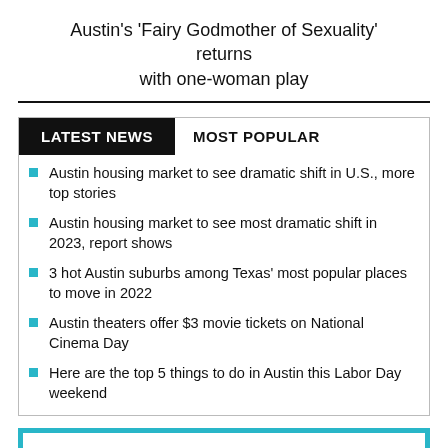Austin's 'Fairy Godmother of Sexuality' returns with one-woman play
Austin housing market to see dramatic shift in U.S., more top stories
Austin housing market to see most dramatic shift in 2023, report shows
3 hot Austin suburbs among Texas' most popular places to move in 2022
Austin theaters offer $3 movie tickets on National Cinema Day
Here are the top 5 things to do in Austin this Labor Day weekend